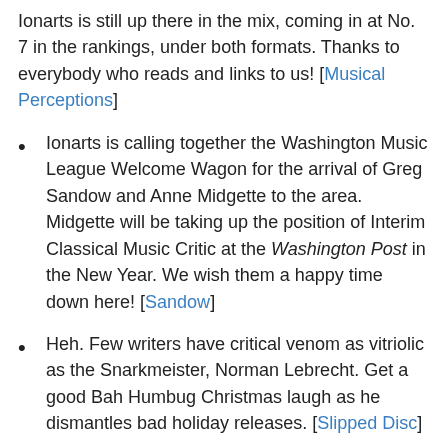Ionarts is still up there in the mix, coming in at No. 7 in the rankings, under both formats. Thanks to everybody who reads and links to us! [Musical Perceptions]
Ionarts is calling together the Washington Music League Welcome Wagon for the arrival of Greg Sandow and Anne Midgette to the area. Midgette will be taking up the position of Interim Classical Music Critic at the Washington Post in the New Year. We wish them a happy time down here! [Sandow]
Heh. Few writers have critical venom as vitriolic as the Snarkmeister, Norman Lebrecht. Get a good Bah Humbug Christmas laugh as he dismantles bad holiday releases. [Slipped Disc]
Sarah Noble has put together an operatic Advent calendar, with a different YouTube video for each